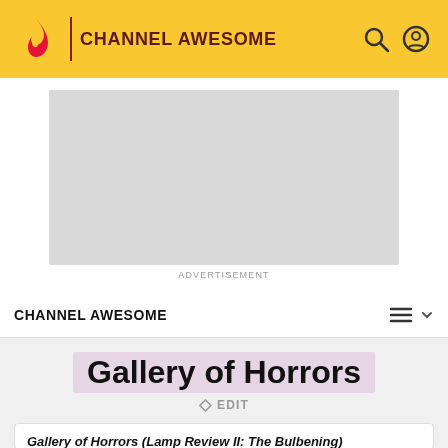CHANNEL AWESOME
[Figure (other): Advertisement placeholder — light grey rectangle]
ADVERTISEMENT
CHANNEL AWESOME
Gallery of Horrors
EDIT
Gallery of Horrors (Lamp Review II: The Bulbening)